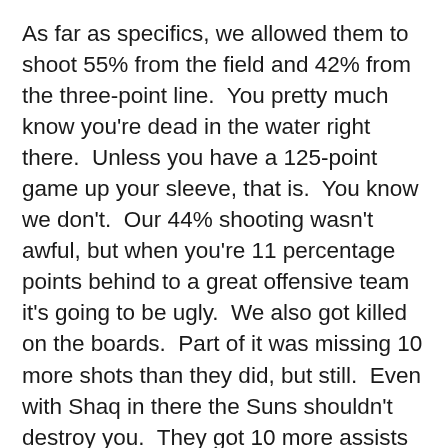As far as specifics, we allowed them to shoot 55% from the field and 42% from the three-point line.  You pretty much know you're dead in the water right there.  Unless you have a 125-point game up your sleeve, that is.  You know we don't.  Our 44% shooting wasn't awful, but when you're 11 percentage points behind to a great offensive team it's going to be ugly.  We also got killed on the boards.  Part of it was missing 10 more shots than they did, but still.  Even with Shaq in there the Suns shouldn't destroy you.  They got 10 more assists than we did, which hardly required a glance at the boxscore. You could see it happening right before your eyes.  Our defense had to scramble so hard to stop anyone with the ball (and we were a wee bit indiscriminate about who we surrounded) that there was always at least one Suns player open.  They